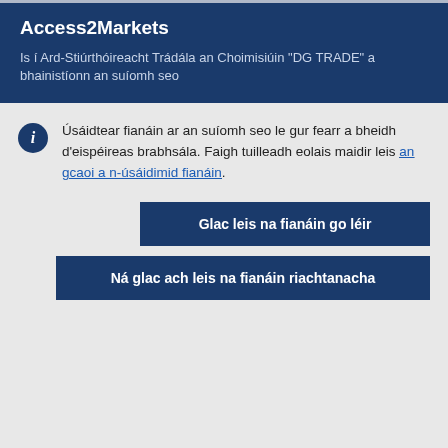Access2Markets
Is í Ard-Stiúrthóireacht Trádála an Choimisiúin "DG TRADE" a bhainistíonn an suíomh seo
Úsáidtear fianáin ar an suíomh seo le gur fearr a bheidh d'eispéireas brabhsála. Faigh tuilleadh eolais maidir leis an gcaoi a n-úsáidimid fianáin.
Glac leis na fianáin go léir
Ná glac ach leis na fianáin riachtanacha